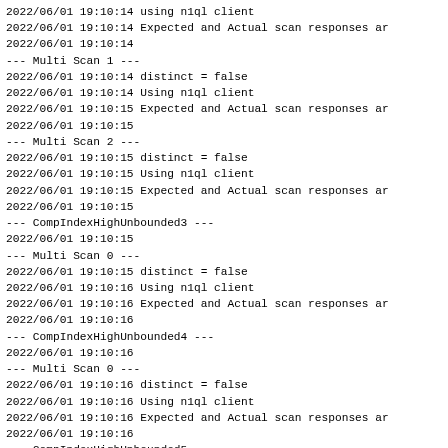2022/06/01 19:10:14 using n1ql client
2022/06/01 19:10:14 Expected and Actual scan responses ar
2022/06/01 19:10:14
--- Multi Scan 1 ---
2022/06/01 19:10:14 distinct = false
2022/06/01 19:10:14 Using n1ql client
2022/06/01 19:10:15 Expected and Actual scan responses ar
2022/06/01 19:10:15
--- Multi Scan 2 ---
2022/06/01 19:10:15 distinct = false
2022/06/01 19:10:15 Using n1ql client
2022/06/01 19:10:15 Expected and Actual scan responses ar
2022/06/01 19:10:15
--- CompIndexHighUnbounded3 ---
2022/06/01 19:10:15
--- Multi Scan 0 ---
2022/06/01 19:10:15 distinct = false
2022/06/01 19:10:16 Using n1ql client
2022/06/01 19:10:16 Expected and Actual scan responses ar
2022/06/01 19:10:16
--- CompIndexHighUnbounded4 ---
2022/06/01 19:10:16
--- Multi Scan 0 ---
2022/06/01 19:10:16 distinct = false
2022/06/01 19:10:16 Using n1ql client
2022/06/01 19:10:16 Expected and Actual scan responses ar
2022/06/01 19:10:16
--- CompIndexHighUnbounded5 ---
2022/06/01 19:10:16
--- Multi Scan 0 ---
2022/06/01 19:10:16 distinct = false